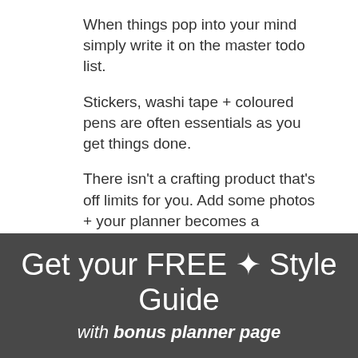When things pop into your mind simply write it on the master todo list.
Stickers, washi tape + coloured pens are often essentials as you get things done.
There isn't a crafting product that's off limits for you. Add some photos + your planner becomes a keepsake too!
Get your FREE ✦ Style Guide
with bonus planner page